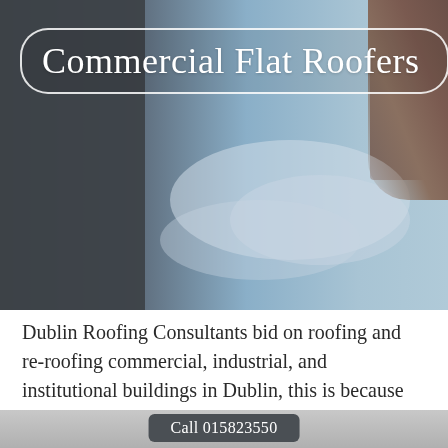[Figure (photo): Background photo of a flat commercial roof with blue sky visible, dark panels on the left side and a person partially visible on the right]
Commercial Flat Roofers
Dublin Roofing Consultants bid on roofing and re-roofing commercial, industrial, and institutional buildings in Dublin, this is because we are licensed as
Call 015823550